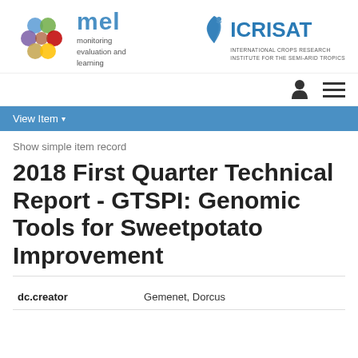[Figure (logo): MEL (Monitoring Evaluation and Learning) logo with colorful circular figures]
[Figure (logo): ICRISAT (International Crops Research Institute for the Semi-Arid Tropics) logo]
View Item
Show simple item record
2018 First Quarter Technical Report - GTSPI: Genomic Tools for Sweetpotato Improvement
| Field | Value |
| --- | --- |
| dc.creator | Gemenet, Dorcus |